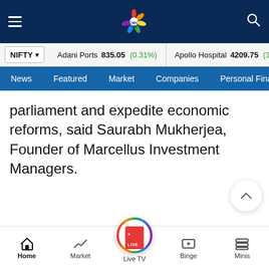CNBC TV18 - Navigation bar with hamburger menu, CNBC TV18 logo, and search icon
NIFTY  |  Adani Ports 835.05 (0.31%)  |  Apollo Hospital 4209.75 (3.4...)
News  Featured  Market  Companies  Personal Finance
parliament and expedite economic reforms, said Saurabh Mukherjea, Founder of Marcellus Investment Managers.
Home  Market  Live TV  Binge  Minis